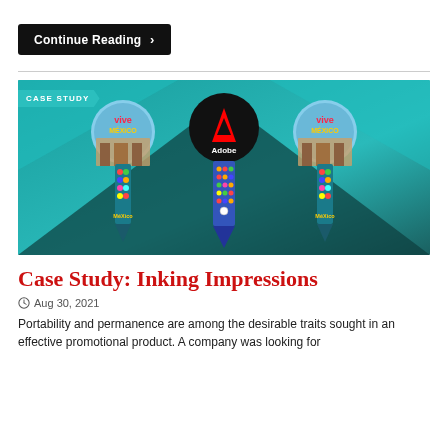Continue Reading ›
[Figure (illustration): Case study banner image showing three decorative pen/stylus promotional products with 'Vive Mexico' branding on the outer two and an Adobe logo on the center one, displayed against a teal/dark geometric background. A 'CASE STUDY' label tab is visible on the upper left.]
Case Study: Inking Impressions
Aug 30, 2021
Portability and permanence are among the desirable traits sought in an effective promotional product. A company was looking for